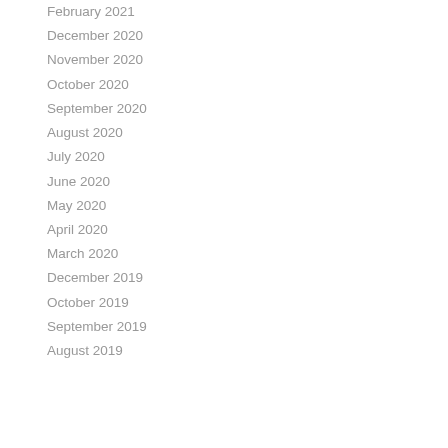February 2021
December 2020
November 2020
October 2020
September 2020
August 2020
July 2020
June 2020
May 2020
April 2020
March 2020
December 2019
October 2019
September 2019
August 2019